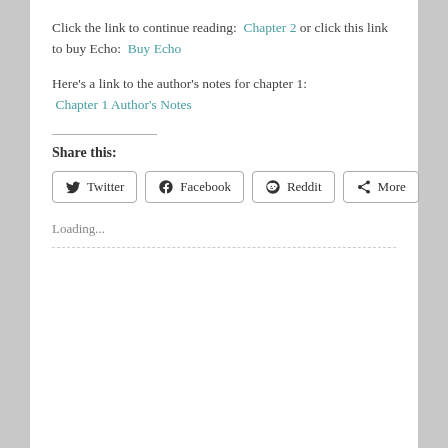Click the link to continue reading:  Chapter 2 or click this link to buy Echo:  Buy Echo
Here's a link to the author's notes for chapter 1:  Chapter 1 Author's Notes
Share this:
Loading...